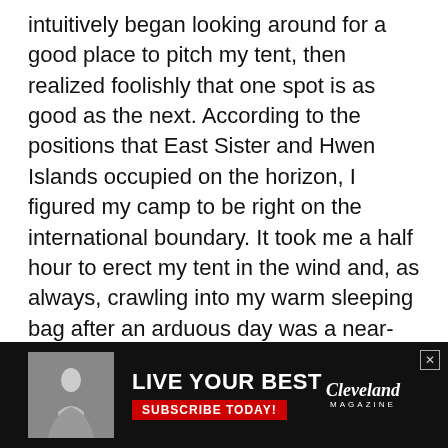intuitively began looking around for a good place to pitch my tent, then realized foolishly that one spot is as good as the next. According to the positions that East Sister and Hwen Islands occupied on the horizon, I figured my camp to be right on the international boundary. It took me a half hour to erect my tent in the wind and, as always, crawling into my warm sleeping bag after an arduous day was a near-orgasmic experience. I fired up my small camp stove and supped splendidly on canned spaghetti with Vienna sausages, oblivious to the swirling, frigid wasteland that lay just outside my comfortable quarters.
7:30 p.m.: I thought I would give my walkie-talkie a try. Its
[Figure (other): Advertisement bar with dark background. Contains a statue image on the left, bold white text 'LIVE YOUR BEST' with red 'SUBSCRIBE TODAY!' button, and Cleveland Magazine logo on the right.]